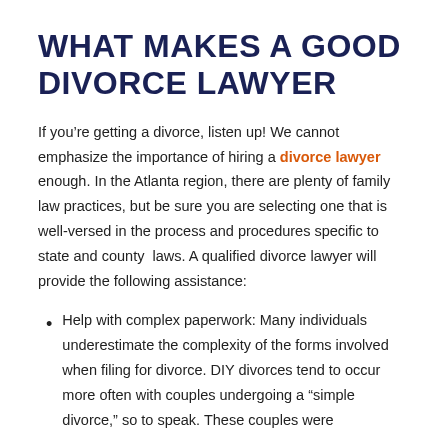WHAT MAKES A GOOD DIVORCE LAWYER
If you’re getting a divorce, listen up! We cannot emphasize the importance of hiring a divorce lawyer enough. In the Atlanta region, there are plenty of family law practices, but be sure you are selecting one that is well-versed in the process and procedures specific to state and county  laws. A qualified divorce lawyer will provide the following assistance:
Help with complex paperwork: Many individuals underestimate the complexity of the forms involved when filing for divorce. DIY divorces tend to occur more often with couples undergoing a “simple divorce,” so to speak. These couples were